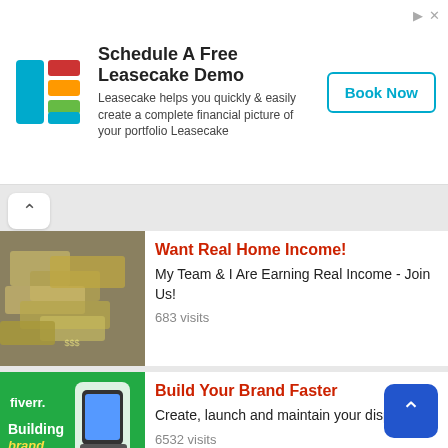[Figure (infographic): Leasecake advertisement banner with logo, title 'Schedule A Free Leasecake Demo', description text, and Book Now button]
Want Real Home Income! My Team & I Are Earning Real Income - Join Us! 683 visits
Build Your Brand Faster Create, launch and maintain your display ad 6532 visits
Top Affiliate Secret The Secret To Make Money Online Has Been Exposed Here! 5199 visits
Free Sales Machine!